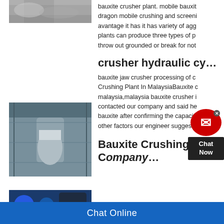[Figure (photo): Aerial or outdoor photo of bauxite crusher plant operations]
bauxite crusher plant. mobile bauxit dragon mobile crushing and screeni avantage it has it has variety of agg plants can produce three types of p throw out grounded or break for not
[Figure (photo): Industrial photo of a crusher hydraulic cylinder machinery]
crusher hydraulic cy…
bauxite jaw crusher processing of c Crushing Plant In MalaysiaBauxite c malaysia,malaysia bauxite crusher i contacted our company and said he bauxite after confirming the capacity other factors our engineer suggeste
[Figure (photo): Photo of Bauxite Crushing Plant equipment]
Bauxite Crushing Plant Company…
Chat Online